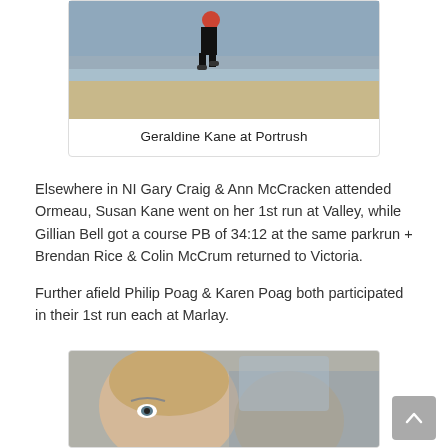[Figure (photo): Photo of a person running on a beach at Portrush, partially cropped at top]
Geraldine Kane at Portrush
Elsewhere in NI Gary Craig & Ann McCracken attended Ormeau, Susan Kane went on her 1st run at Valley, while Gillian Bell got a course PB of 34:12 at the same parkrun + Brendan Rice & Colin McCrum returned to Victoria.
Further afield Philip Poag & Karen Poag both participated in their 1st run each at Marlay.
[Figure (photo): Selfie photo of a person in a car, partially visible, cropped at bottom]